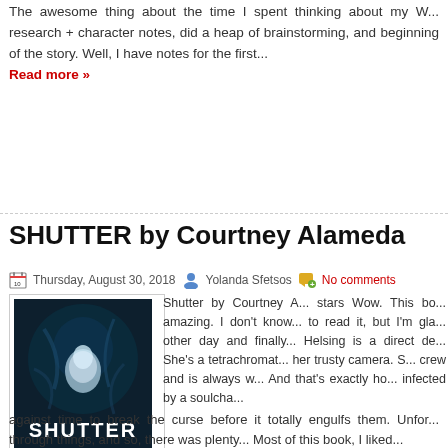The awesome thing about the time I spent thinking about my W... research + character notes, did a heap of brainstorming, and beginning of the story. Well, I have notes for the first...
Read more »
SHUTTER by Courtney Alameda
Thursday, August 30, 2018   Yolanda Sfetsos   No comments
[Figure (photo): Book cover of SHUTTER by Courtney Alameda — dark blue/teal background with a ghostly figure and the title SHUTTER and author name COURTNEY ALAMEDA at the bottom]
Shutter by Courtney A... stars Wow. This bo... amazing. I don't know... to read it, but I'm gla... other day and finally... Helsing is a direct de... She's a tetrachromat... her trusty camera. S... crew and is always w... And that's exactly ho... infected by a soulcha...
against time to break the curse before it totally engulfs them. Unfor... through things, and so, there was plenty...  Most of this book, I liked...